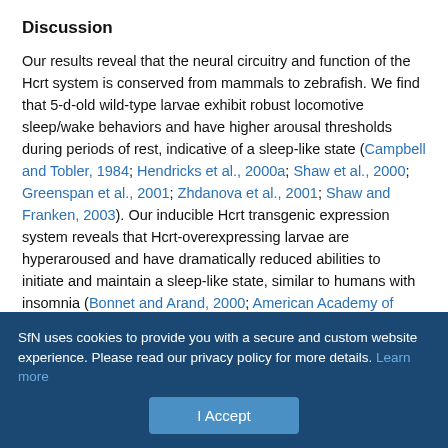Discussion
Our results reveal that the neural circuitry and function of the Hcrt system is conserved from mammals to zebrafish. We find that 5-d-old wild-type larvae exhibit robust locomotive sleep/wake behaviors and have higher arousal thresholds during periods of rest, indicative of a sleep-like state (Campbell and Tobler, 1984; Hendricks et al., 2000a; Shaw et al., 2000; Greenspan et al., 2001; Zhdanova et al., 2001; Shaw and Franken, 2003). Our inducible Hcrt transgenic expression system reveals that Hcrt-overexpressing larvae are hyperaroused and have dramatically reduced abilities to initiate and maintain a sleep-like state, similar to humans with insomnia (Bonnet and Arand, 2000; American Academy of Sleep Medicine, 2001;
SfN uses cookies to provide you with a secure and custom website experience. Please read our privacy policy for more details. Learn more
I Accept